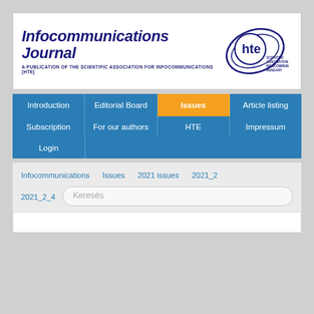[Figure (logo): Infocommunications Journal header with HTE logo. Title reads 'Infocommunications Journal' in bold dark blue italic. Subtitle: 'A PUBLICATION OF THE SCIENTIFIC ASSOCIATION FOR INFOCOMMUNICATIONS (HTE)'. HTE circular logo on right.]
Introduction
Editorial Board
Issues
Article listing
Subscription
For our authors
HTE
Impressum
Login
Infocommunications   Issues   2021 issues   2021_2
2021_2_4   Keresés